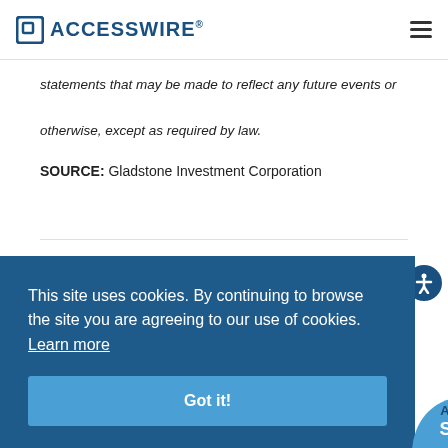ACCESSWIRE
statements that may be made to reflect any future events or otherwise, except as required by law.
SOURCE: Gladstone Investment Corporation
Topic:  Company Update
This site uses cookies. By continuing to browse the site you are agreeing to our use of cookies.  Learn more
Got it!